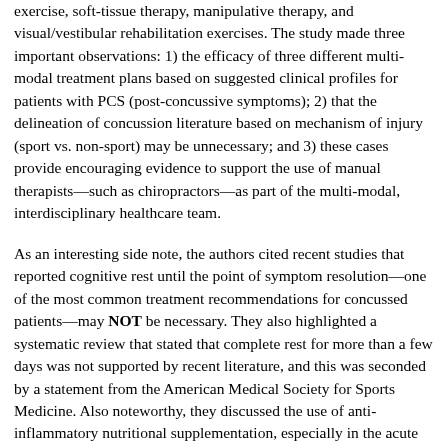exercise, soft-tissue therapy, manipulative therapy, and visual/vestibular rehabilitation exercises. The study made three important observations: 1) the efficacy of three different multi-modal treatment plans based on suggested clinical profiles for patients with PCS (post-concussive symptoms); 2) that the delineation of concussion literature based on mechanism of injury (sport vs. non-sport) may be unnecessary; and 3) these cases provide encouraging evidence to support the use of manual therapists—such as chiropractors—as part of the multi-modal, interdisciplinary healthcare team.
As an interesting side note, the authors cited recent studies that reported cognitive rest until the point of symptom resolution—one of the most common treatment recommendations for concussed patients—may NOT be necessary. They also highlighted a systematic review that stated that complete rest for more than a few days was not supported by recent literature, and this was seconded by a statement from the American Medical Society for Sports Medicine. Also noteworthy, they discussed the use of anti-inflammatory nutritional supplementation, especially in the acute stage including omega-3 essential fatty acids, vitamin D3, and curcumin as well as limiting the intake of white sugar and processed meats.
Many chiropractic providers offer a multi-modal treatment approach for patients with cervical musculoskeletal disorders that routinely